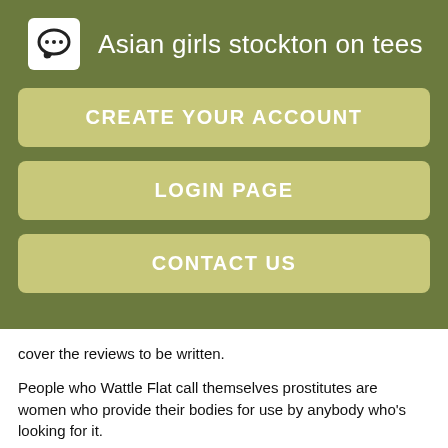Asian girls stockton on tees
CREATE YOUR ACCOUNT
LOGIN PAGE
CONTACT US
cover the reviews to be written.
People who Wattle Flat call themselves prostitutes are women who provide their bodies for use by anybody who's looking for it.
There are no 'types' of member here on Shagrr. Looking for some fun I can travel friendfrien 28 Straight Male Hi single male Australia starr escort 78 looking for new things with female or couples AustraliaNew South WalesYenda.